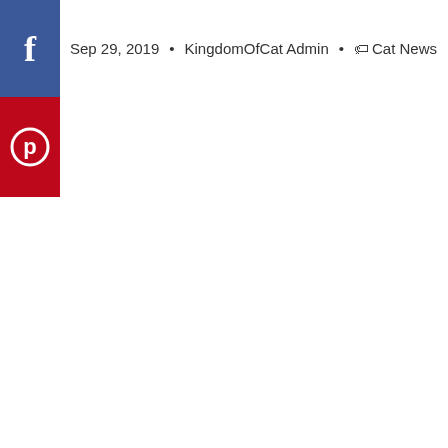[Figure (other): Facebook share button — blue square with white 'f' icon]
[Figure (other): Pinterest share button — red square with white Pinterest 'P' circle icon]
Sep 29, 2019 • KingdomOfCat Admin • 🏷 Cat News